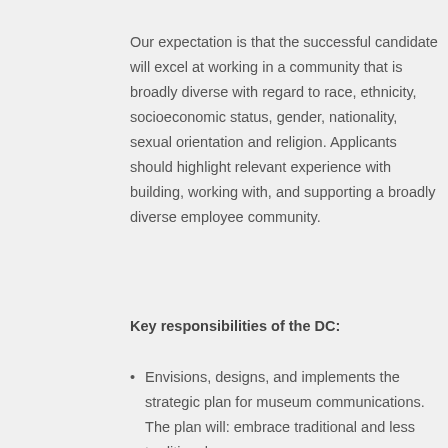Our expectation is that the successful candidate will excel at working in a community that is broadly diverse with regard to race, ethnicity, socioeconomic status, gender, nationality, sexual orientation and religion. Applicants should highlight relevant experience with building, working with, and supporting a broadly diverse employee community.
Key responsibilities of the DC:
Envisions, designs, and implements the strategic plan for museum communications. The plan will: embrace traditional and less traditional